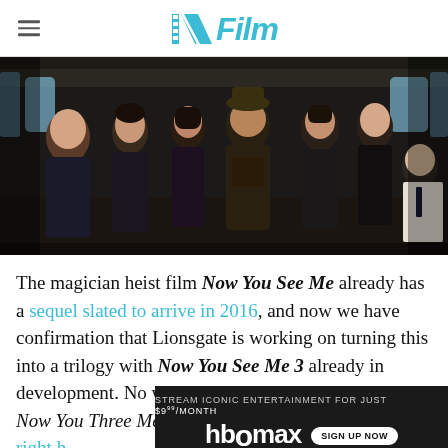/Film
[Figure (photo): Group of cast members from Now You See Me standing together inside an airplane cabin, dark moody lighting]
The magician heist film Now You See Me already has a sequel slated to arrive in 2016, and now we have confirmation that Lionsgate is working on turning this into a trilogy with Now You See Me 3 already in development. No word on whether it will be called Now You Three Me, but you can get all the details right h
[Figure (infographic): HBO Max advertisement banner: STREAM ICONIC ENTERTAINMENT FOR JUST $9.99/MONTH with HBO Max logo and SIGN UP NOW button]